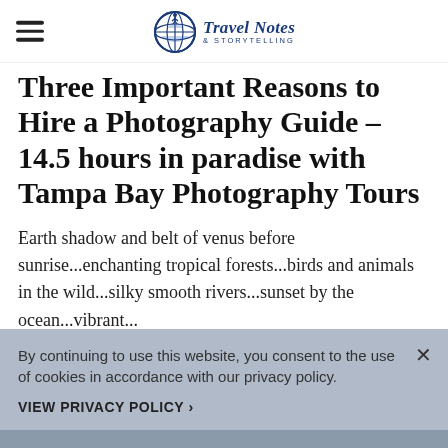Travel Notes & Storytelling
Three Important Reasons to Hire a Photography Guide – 14.5 hours in paradise with Tampa Bay Photography Tours
Earth shadow and belt of venus before sunrise...enchanting tropical forests...birds and animals in the wild...silky smooth rivers...sunset by the ocean...vibrant...
By continuing to use this website, you consent to the use of cookies in accordance with our privacy policy. VIEW PRIVACY POLICY ›